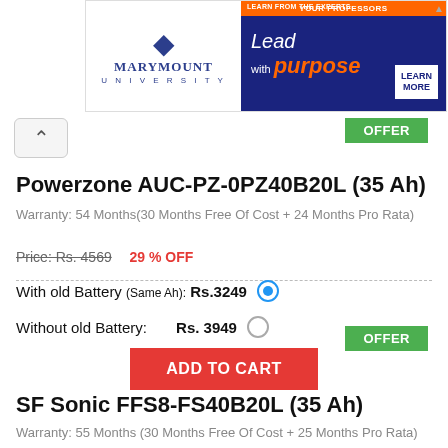[Figure (screenshot): Marymount University advertisement banner with orange and navy blue design, 'Lead with purpose' text]
OFFER
Powerzone AUC-PZ-0PZ40B20L (35 Ah)
Warranty: 54 Months(30 Months Free Of Cost + 24 Months Pro Rata)
Price: Rs. 4569   29 % OFF
With old Battery (Same Ah): Rs.3249
Without old Battery:   Rs. 3949
ADD TO CART
OFFER
SF Sonic FFS8-FS40B20L (35 Ah)
Warranty: 55 Months (30 Months Free Of Cost + 25 Months Pro Rata)